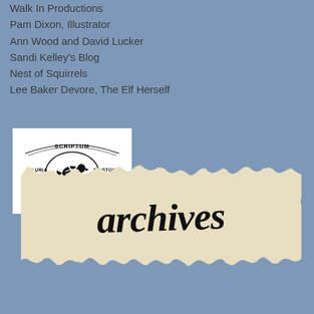Walk In Productions
Pam Dixon, Illustrator
Ann Wood and David Lucker
Sandi Kelley’s Blog
Nest of Squirrels
Lee Baker Devore, The Elf Herself
[Figure (logo): Letter Writers Alliance logo: bird with crossed quills inside oval, text LETTER WRITERS ALLIANCE with dots, Latin text SCRIPTUM PLURIA EPISTOLA on banner]
[Figure (photo): Torn masking tape strip with handwritten cursive text 'archives' in black ink on cream/beige tape background]